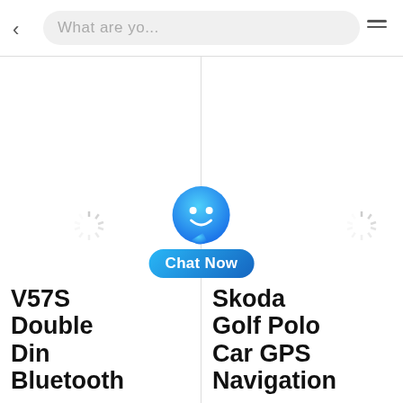What are yo...
[Figure (screenshot): Chat Now widget with blue speech bubble icon and gradient label]
V57S Double Din Bluetooth
Skoda Golf Polo Car GPS Navigation